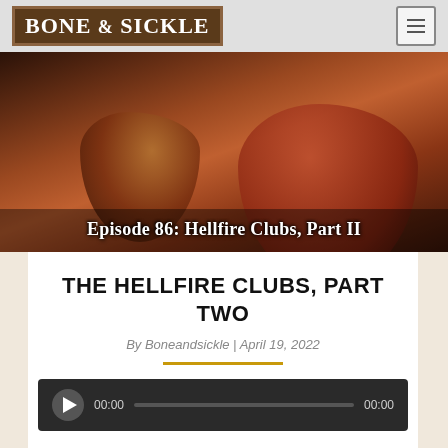BONE & SICKLE
[Figure (photo): Promotional image for Episode 86: Hellfire Clubs, Part II showing robed figures in dim lighting with text overlay 'Episode 86: Hellfire Clubs, Part II']
THE HELLFIRE CLUBS, PART TWO
By Boneandsickle | April 19, 2022
[Figure (other): Audio player widget with play button, time display 00:00, progress bar, and end time 00:00]
Podcast: Play in new window | Download (Duration: